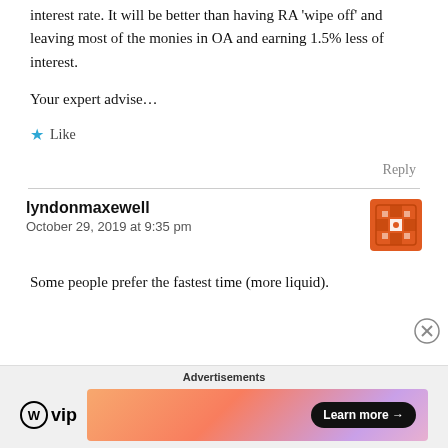interest rate. It will be better than having RA 'wipe off' and leaving most of the monies in OA and earning 1.5% less of interest.
Your expert advise…
★ Like
Reply
lyndonmaxewell
October 29, 2019 at 9:35 pm
Some people prefer the fastest time (more liquid).
Advertisements
[Figure (logo): WordPress VIP logo with WP circle icon and 'vip' text]
[Figure (other): Advertisement banner with gradient background and 'Learn more' button]